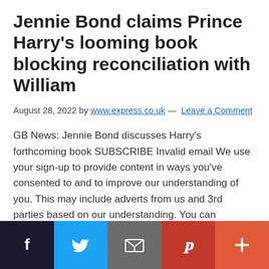Jennie Bond claims Prince Harry's looming book blocking reconciliation with William
August 28, 2022 by www.express.co.uk — Leave a Comment
GB News: Jennie Bond discusses Harry's forthcoming book SUBSCRIBE Invalid email We use your sign-up to provide content in ways you've consented to and to improve our understanding of you. This may include adverts from us and 3rd parties based on our understanding. You can unsubscribe at any time. More info BBC Royal